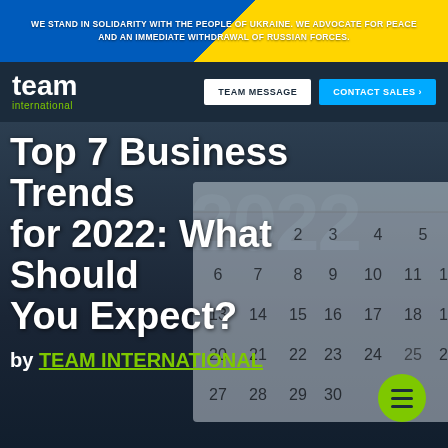WE STAND IN SOLIDARITY WITH THE PEOPLE OF UKRAINE. WE ADVOCATE FOR PEACE AND AN IMMEDIATE WITHDRAWAL OF RUSSIAN FORCES.
[Figure (logo): Team International logo with green 'international' text below white 'team' wordmark]
TEAM MESSAGE
CONTACT SALES >
Top 7 Business Trends for 2022: What Should You Expect?
by TEAM INTERNATIONAL
[Figure (photo): Calendar showing month with dates 1-30, with '2022' watermark in background, overlaid on dark blue tech background with keyboard]